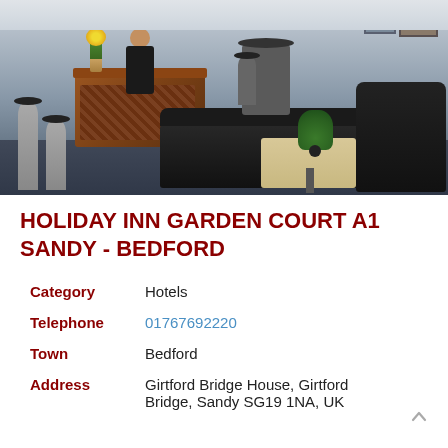[Figure (photo): Hotel lobby interior showing reception desk, black leather sofas, bar stools, coffee table with plant, and a person standing at the reception counter.]
HOLIDAY INN GARDEN COURT A1 SANDY - BEDFORD
| Category | Hotels |
| Telephone | 01767692220 |
| Town | Bedford |
| Address | Girtford Bridge House, Girtford Bridge, Sandy SG19 1NA, UK |